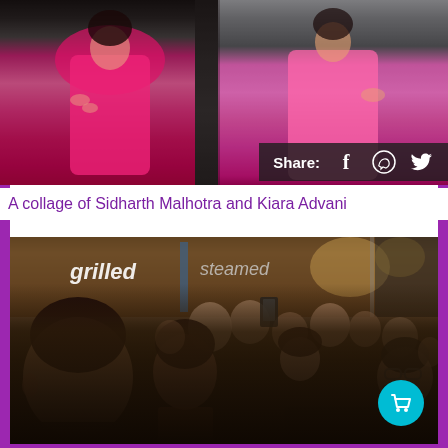[Figure (photo): A collage of two photos side-by-side showing Sidharth Malhotra and Kiara Advani, both in pink outfits. A dark share bar overlay reads 'Share:' with Facebook, WhatsApp, and Twitter icons.]
A collage of Sidharth Malhotra and Kiara Advani
[Figure (photo): Sidharth Malhotra surrounded by a crowd of fans inside what appears to be a food court or restaurant, with signs reading 'grilled' and 'steamed' visible in the background. A teal shopping cart button is visible at the bottom right.]